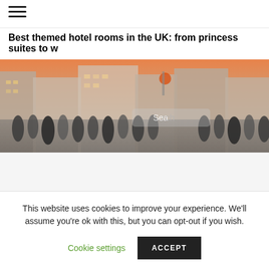☰ (hamburger menu icon)
Best themed hotel rooms in the UK: from princess suites to w
[Figure (photo): Street scene with a crowd of people walking, overlaid with two search bar UI elements showing 'Search' text. Urban street setting with buildings in background, warm evening light.]
This website uses cookies to improve your experience. We'll assume you're ok with this, but you can opt-out if you wish.
Cookie settings   ACCEPT